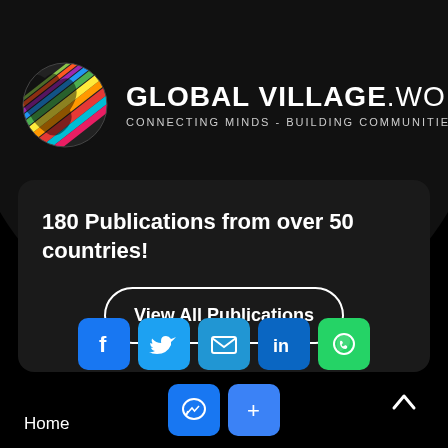[Figure (logo): Global Village World logo with colorful globe and brand name text: GLOBAL VILLAGE.WORLD CONNECTING MINDS - BUILDING COMMUNITIES]
180 Publications from over 50 countries!
View All Publications
[Figure (infographic): Social media share icons: Facebook, Twitter, Email, LinkedIn, WhatsApp (row 1); Messenger, Share/Add (row 2)]
Home